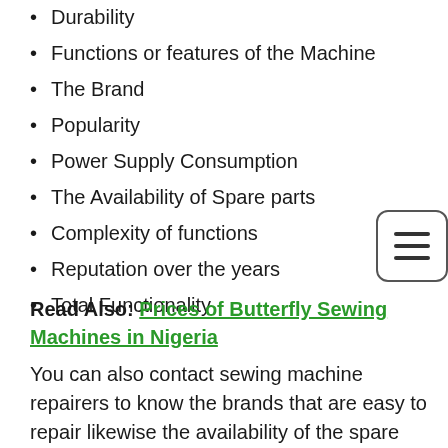Durability
Functions or features of the Machine
The Brand
Popularity
Power Supply Consumption
The Availability of Spare parts
Complexity of functions
Reputation over the years
Total Functionality
Read Also: Prices of Butterfly Sewing Machines in Nigeria
You can also contact sewing machine repairers to know the brands that are easy to repair likewise the availability of the spare parts in the Nigerian market.